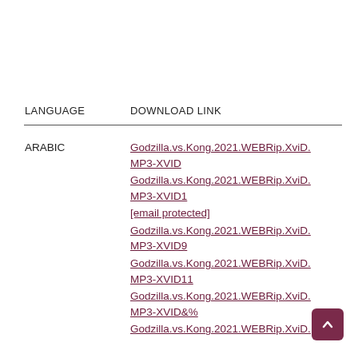| LANGUAGE | DOWNLOAD LINK |
| --- | --- |
| ARABIC | Godzilla.vs.Kong.2021.WEBRip.XviD.MP3-XVID
Godzilla.vs.Kong.2021.WEBRip.XviD.MP3-XVID1
[email protected]
Godzilla.vs.Kong.2021.WEBRip.XviD.MP3-XVID9
Godzilla.vs.Kong.2021.WEBRip.XviD.MP3-XVID11
Godzilla.vs.Kong.2021.WEBRip.XviD.MP3-XVID&%
Godzilla.vs.Kong.2021.WEBRip.XviD... |